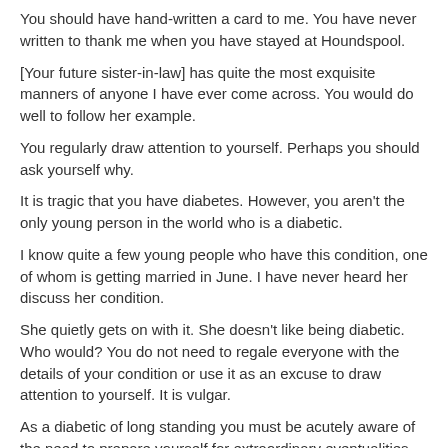You should have hand-written a card to me. You have never written to thank me when you have stayed at Houndspool.
[Your future sister-in-law] has quite the most exquisite manners of anyone I have ever come across. You would do well to follow her example.
You regularly draw attention to yourself. Perhaps you should ask yourself why.
It is tragic that you have diabetes. However, you aren't the only young person in the world who is a diabetic.
I know quite a few young people who have this condition, one of whom is getting married in June. I have never heard her discuss her condition.
She quietly gets on with it. She doesn't like being diabetic. Who would? You do not need to regale everyone with the details of your condition or use it as an excuse to draw attention to yourself. It is vulgar.
As a diabetic of long standing you must be acutely aware of the need to prepare yourself for extraordinary eventualities, the walk to Mothecombe beach being an example.